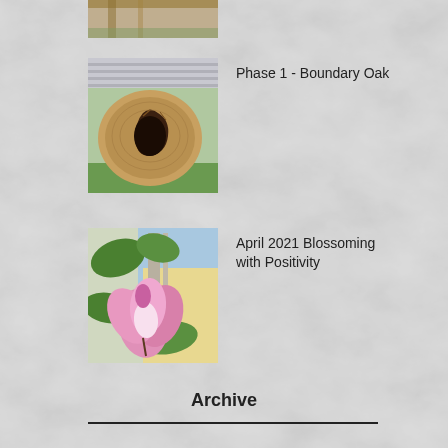[Figure (photo): Partial view of a photo at the top of the page, cropped — appears to show wooden/railing structure]
[Figure (photo): Cross-section of a tree trunk/log showing a hollow cavity, placed on grass]
Phase 1 - Boundary Oak
[Figure (photo): Pink magnolia flower blooming with green leaves and a building/window in the background]
April 2021 Blossoming with Positivity
Archive